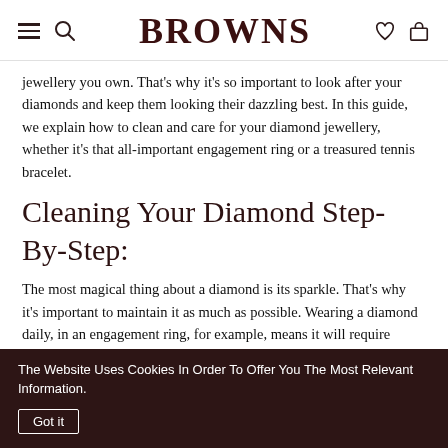BROWNS
jewellery you own. That's why it's so important to look after your diamonds and keep them looking their dazzling best. In this guide, we explain how to clean and care for your diamond jewellery, whether it's that all-important engagement ring or a treasured tennis bracelet.
Cleaning Your Diamond Step-By-Step:
The most magical thing about a diamond is its sparkle. That's why it's important to maintain it as much as possible. Wearing a diamond daily, in an engagement ring, for example, means it will require special care to help it stand the test of time. Dirt can build up easily from everyday activities, so if your diamond is looking a
The Website Uses Cookies In Order To Offer You The Most Relevant Information.